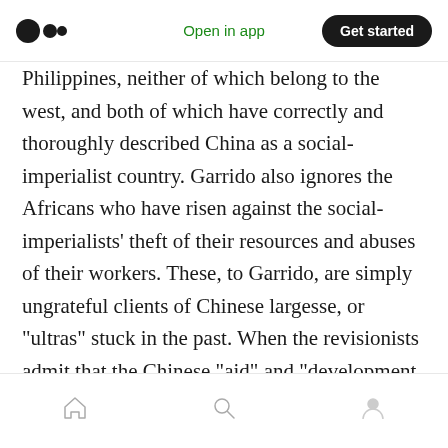Open in app | Get started
Philippines, neither of which belong to the west, and both of which have correctly and thoroughly described China as a social-imperialist country. Garrido also ignores the Africans who have risen against the social-imperialists' theft of their resources and abuses of their workers. These, to Garrido, are simply ungrateful clients of Chinese largesse, or “ultras” stuck in the past. When the revisionists admit that the Chinese “aid” and “development loans” are backed by the infrastructure of the countries that it is lending to, they engage in whataboutism and call for “tactical support” and “backing China” as
Home | Search | Profile